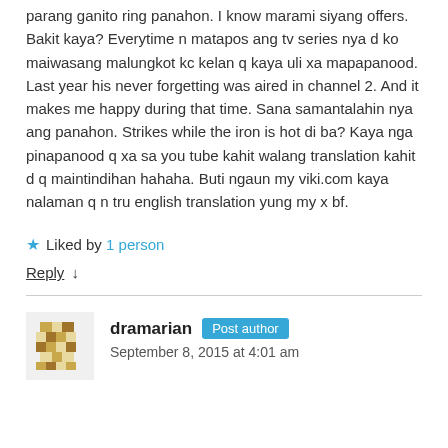parang ganito ring panahon. I know marami siyang offers. Bakit kaya? Everytime n matapos ang tv series nya d ko maiwasang malungkot kc kelan q kaya uli xa mapapanood. Last year his never forgetting was aired in channel 2. And it makes me happy during that time. Sana samantalahin nya ang panahon. Strikes while the iron is hot di ba? Kaya nga pinapanood q xa sa you tube kahit walang translation kahit d q maintindihan hahaha. Buti ngaun my viki.com kaya nalaman q n tru english translation yung my x bf.
★ Liked by 1 person
Reply ↓
dramarian Post author
September 8, 2015 at 4:01 am